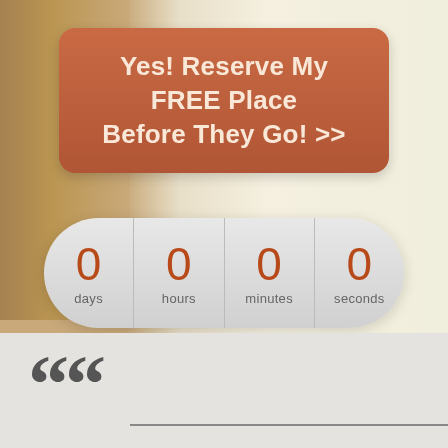[Figure (screenshot): Call-to-action button with terracotta/rust colored rounded rectangle background reading 'Yes! Reserve My FREE Place Before They Go! >>']
[Figure (infographic): Countdown timer pill showing 0 days, 0 hours, 0 minutes, 0 seconds in red numerals on a gray pill-shaped background]
[Figure (illustration): Bottom section with gray background showing large dark quotation marks and a horizontal line, suggesting a testimonial/quote section below]